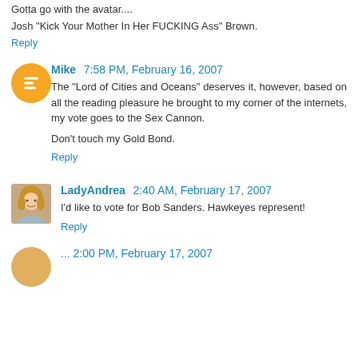Gotta go with the avatar....
Josh "Kick Your Mother In Her FUCKING Ass" Brown.
Reply
Mike  7:58 PM, February 16, 2007
The "Lord of Cities and Oceans" deserves it, however, based on all the reading pleasure he brought to my corner of the internets, my vote goes to the Sex Cannon.
Don't touch my Gold Bond.
Reply
LadyAndrea  2:40 AM, February 17, 2007
I'd like to vote for Bob Sanders. Hawkeyes represent!
Reply
... 2:00 PM, February 17, 2007